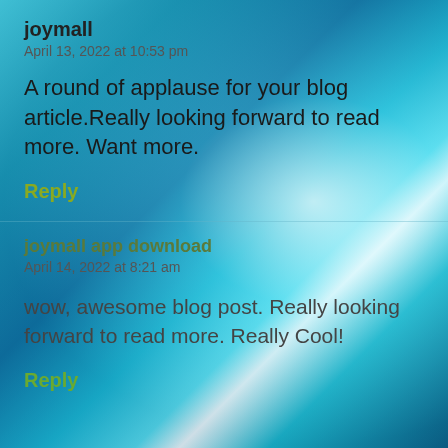joymall
April 13, 2022 at 10:53 pm
A round of applause for your blog article.Really looking forward to read more. Want more.
Reply
joymall app download
April 14, 2022 at 8:21 am
wow, awesome blog post. Really looking forward to read more. Really Cool!
Reply